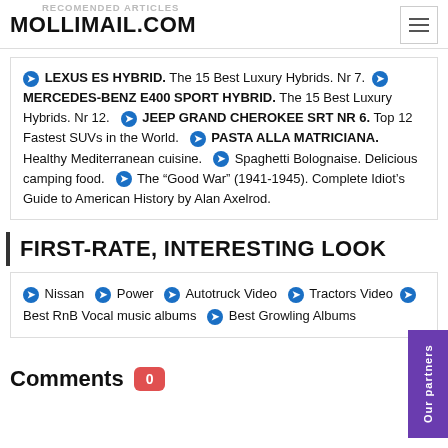RECOMENDED ARTICLES | MOLLIMAIL.COM
❯ LEXUS ES HYBRID. The 15 Best Luxury Hybrids. Nr 7. ❯ MERCEDES-BENZ E400 SPORT HYBRID. The 15 Best Luxury Hybrids. Nr 12. ❯ JEEP GRAND CHEROKEE SRT NR 6. Top 12 Fastest SUVs in the World. ❯ PASTA ALLA MATRICIANA. Healthy Mediterranean cuisine. ❯ Spaghetti Bolognaise. Delicious camping food. ❯ The "Good War" (1941-1945). Complete Idiot's Guide to American History by Alan Axelrod.
FIRST-RATE, INTERESTING LOOK
❯ Nissan ❯ Power ❯ Autotruck Video ❯ Tractors Video ❯ Best RnB Vocal music albums ❯ Best Growling Albums
Comments 0